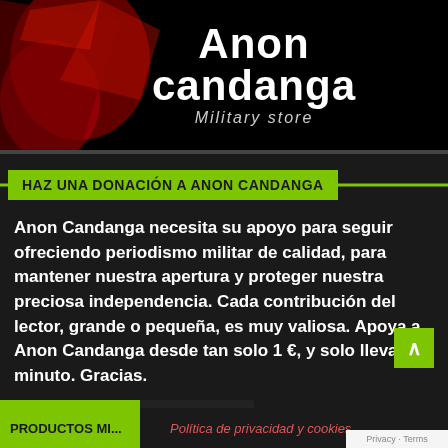[Figure (logo): Anon Candanga Military Store banner with dark background featuring red abstract shapes and white bold text reading 'Anon candanga Military store']
HAZ UNA DONACIÓN A ANON CANDANGA
Anon Candanga necesita su apoyo para seguir ofreciendo periodismo militar de calidad, para mantener nuestra apertura y proteger nuestra preciosa independencia. Cada contribución del lector, grande o pequeña, es muy valiosa. Apoya a Anon Candanga desde tan solo 1 €, y solo lleva un minuto. Gracias.
[Figure (other): PayPal Donate button with credit card icons below (Mastercard, Visa, Mastercard, American Express, Maestro, Carta Banca)]
Política de privacidad y cookies
PRODUCTOS MI...